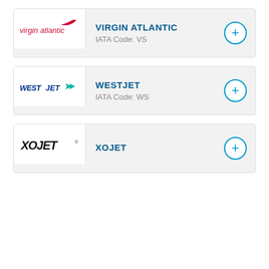[Figure (logo): Virgin Atlantic airline logo with cursive red text and red wing icon]
VIRGIN ATLANTIC
IATA Code: VS
[Figure (logo): WestJet airline logo with bold blue italic text and teal arrow icon]
WESTJET
IATA Code: WS
[Figure (logo): XOJET logo in bold black italic text]
XOJET